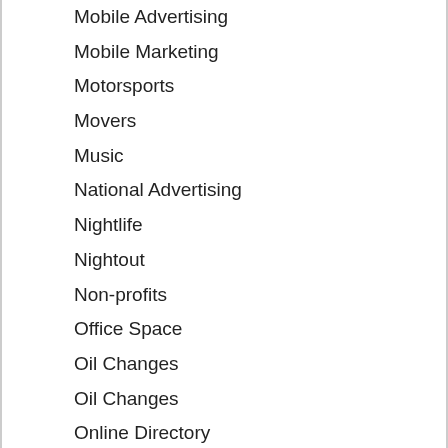Mobile Advertising
Mobile Marketing
Motorsports
Movers
Music
National Advertising
Nightlife
Nightout
Non-profits
Office Space
Oil Changes
Oil Changes
Online Directory
Opportunities
Organic